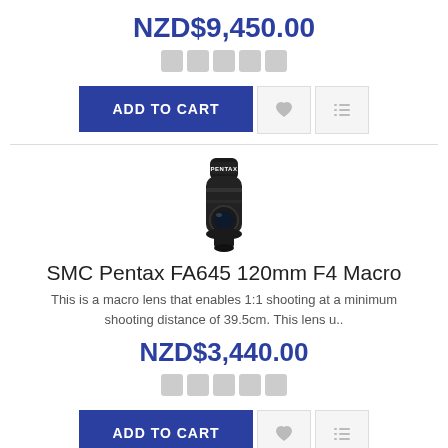NZD$9,450.00
[Figure (other): Five star rating icons in grey]
[Figure (other): Add to Cart button with heart and list icons]
[Figure (photo): Pentax lens product photo - black cylindrical camera lens labeled PENTAX]
SMC Pentax FA645 120mm F4 Macro
This is a macro lens that enables 1:1 shooting at a minimum shooting distance of 39.5cm. This lens u..
NZD$3,440.00
[Figure (other): Five star rating icons in grey]
[Figure (other): Add to Cart button with heart and list icons]